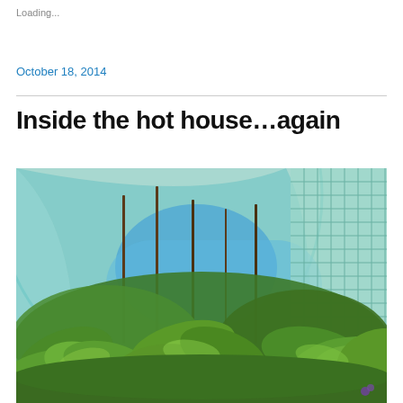Loading...
October 18, 2014
Inside the hot house…again
[Figure (photo): Interior view of a greenhouse/hothouse with lush green plants (primarily leafy vegetables and pepper plants) in the foreground. Tall bamboo stakes support the plants. The curved greenhouse structure is visible in the background, covered with translucent blue-green polythene sheeting. A grid/mesh patterned panel is visible on the upper right.]